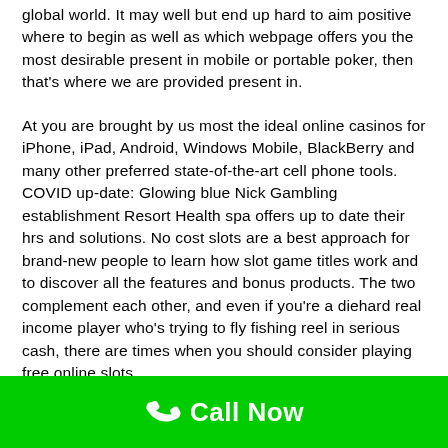global world. It may well but end up hard to aim positive where to begin as well as which webpage offers you the most desirable present in mobile or portable poker, then that's where we are provided present in.
At you are brought by us most the ideal online casinos for iPhone, iPad, Android, Windows Mobile, BlackBerry and many other preferred state-of-the-art cell phone tools. COVID up-date: Glowing blue Nick Gambling establishment Resort Health spa offers up to date their hrs and solutions. No cost slots are a best approach for brand-new people to learn how slot game titles work and to discover all the features and bonus products. The two complement each other, and even if you're a diehard real income player who's trying to fly fishing reel in serious cash, there are times when you should consider playing free online slots.
Call Now